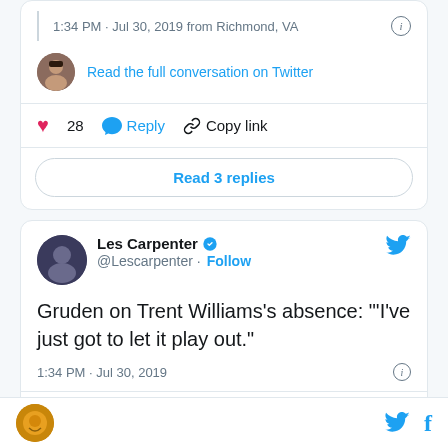1:34 PM · Jul 30, 2019 from Richmond, VA
Read the full conversation on Twitter
28  Reply  Copy link
Read 3 replies
Les Carpenter @Lescarpenter · Follow
Gruden on Trent Williams's absence: "'I've just got to let it play out."
1:34 PM · Jul 30, 2019
1  Reply  Copy link